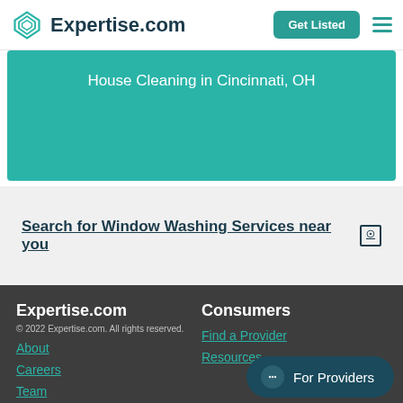Expertise.com | Get Listed
House Cleaning in Cincinnati, OH
Search for Window Washing Services near you
Expertise.com
© 2022 Expertise.com. All rights reserved.
About
Careers
Team
Terms of Use
Consumers
Find a Provider
Resources
For Providers